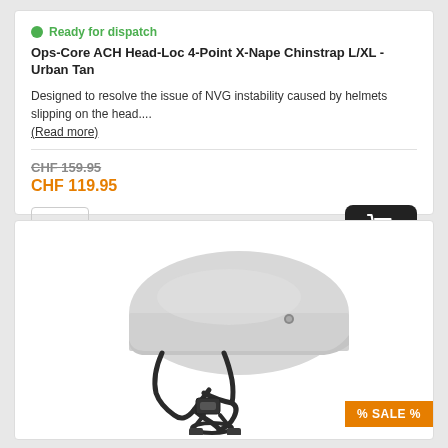Ready for dispatch
Ops-Core ACH Head-Loc 4-Point X-Nape Chinstrap L/XL - Urban Tan
Designed to resolve the issue of NVG instability caused by helmets slipping on the head....
(Read more)
CHF 159.95
CHF 119.95
[Figure (photo): Ops-Core ACH helmet with 4-point X-Nape chinstrap attached, shown in Urban Tan / white color, side view displaying the strap system.]